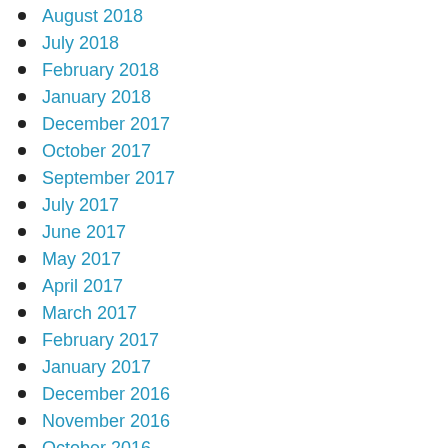August 2018
July 2018
February 2018
January 2018
December 2017
October 2017
September 2017
July 2017
June 2017
May 2017
April 2017
March 2017
February 2017
January 2017
December 2016
November 2016
October 2016